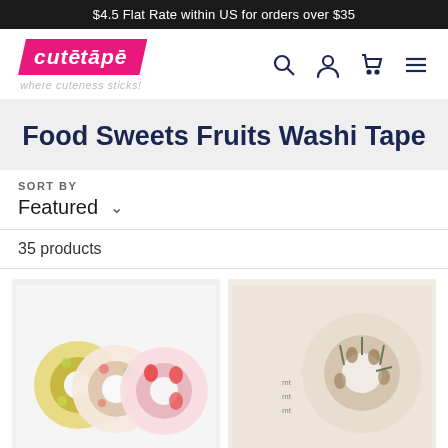$4.5 Flat Rate within US for orders over $35
[Figure (logo): cutētāpē logo in pink banner with tagline 'where cuteness sticks!' and navigation icons]
Food Sweets Fruits Washi Tape
SORT BY
Featured
35 products
[Figure (photo): Three rolls of fruit-patterned washi tape stacked together showing lemons, mixed fruits, and strawberry patterns]
[Figure (photo): Single roll of pineapple patterned washi tape on light pink/beige background with mt brand label]